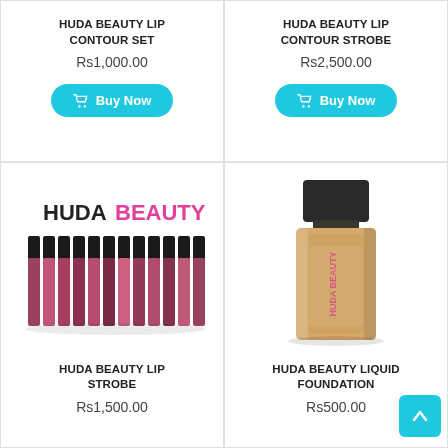HUDA BEAUTY LIP CONTOUR SET
Rs1,000.00
HUDA BEAUTY LIP CONTOUR STROBE
Rs2,500.00
[Figure (illustration): Huda Beauty lip strobe product - multiple lip gloss tubes arranged in a row with HUDABEAUTY logo above]
HUDA BEAUTY LIP STROBE
Rs1,500.00
[Figure (photo): Huda Beauty liquid foundation bottle - glass bottle with dark cap, beige/tan foundation visible]
HUDA BEAUTY LIQUID FOUNDATION
Rs500.00